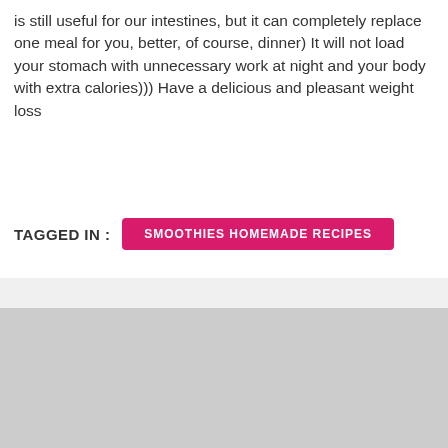is still useful for our intestines, but it can completely replace one meal for you, better, of course, dinner) It will not load your stomach with unnecessary work at night and your body with extra calories))) Have a delicious and pleasant weight loss
TAGGED IN :   SMOOTHIES HOMEMADE RECIPES
[Figure (other): Gray placeholder image box with white border, partially visible at the bottom of the page]